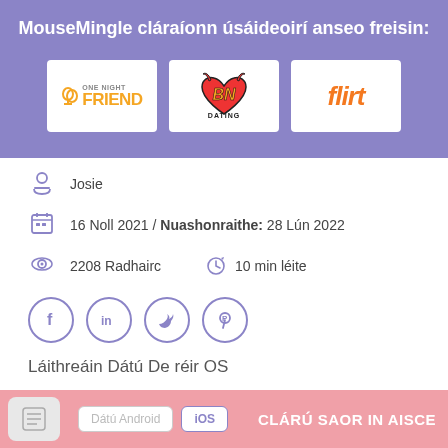MouseMingle cláraíonn úsáideoirí anseo freisin:
[Figure (logo): Three dating site logos: OneNight Friend, BN Dating, Flirt]
Josie
16 Noll 2021 / Nuashonraithe: 28 Lún 2022
2208 Radhairc   10 min léite
[Figure (infographic): Social share buttons: Facebook, LinkedIn, Twitter, Pinterest]
Láithreáin Dátú De réir OS
Dátú Android   iOS   CLÁRÚ SAOR IN AISCE